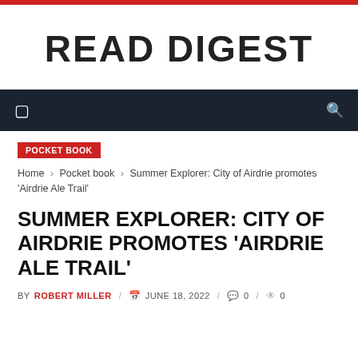READ DIGEST
POCKET BOOK
Home › Pocket book › Summer Explorer: City of Airdrie promotes 'Airdrie Ale Trail'
SUMMER EXPLORER: CITY OF AIRDRIE PROMOTES 'AIRDRIE ALE TRAIL'
BY ROBERT MILLER / JUNE 18, 2022 / 0 / 0